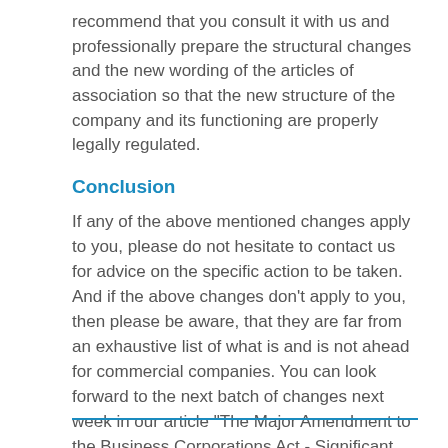recommend that you consult it with us and professionally prepare the structural changes and the new wording of the articles of association so that the new structure of the company and its functioning are properly legally regulated.
Conclusion
If any of the above mentioned changes apply to you, please do not hesitate to contact us for advice on the specific action to be taken. And if the above changes don't apply to you, then please be aware, that they are far from an exhaustive list of what is and is not ahead for commercial companies. You can look forward to the next batch of changes next week in our article "The Major Amendment to the Business Corporations Act - Significant Changes to Company Bodies".